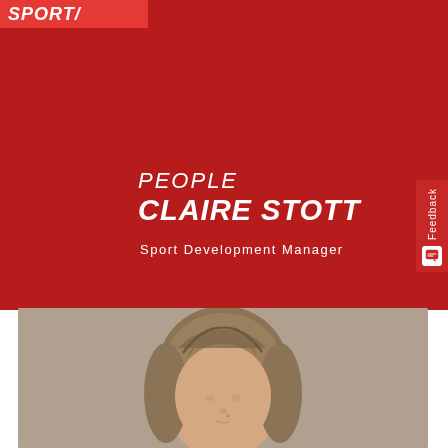SPORT/
PEOPLE
CLAIRE STOTT
Sport Development Manager
[Figure (photo): Headshot photo of Claire Stott, a woman with shoulder-length blonde/brown hair, on a beige/grey background]